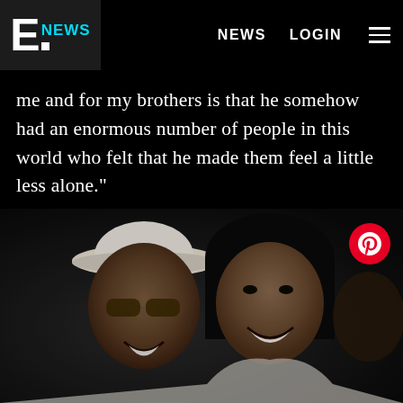E NEWS  |  NEWS  LOGIN
me and for my brothers is that he somehow had an enormous number of people in this world who felt that he made them feel a little less alone."
[Figure (photo): A man wearing a white fedora hat and sunglasses smiling cheek-to-cheek with a woman in a white outfit. A third person is partially visible in the background. The photo appears vintage/film quality with dark background.]